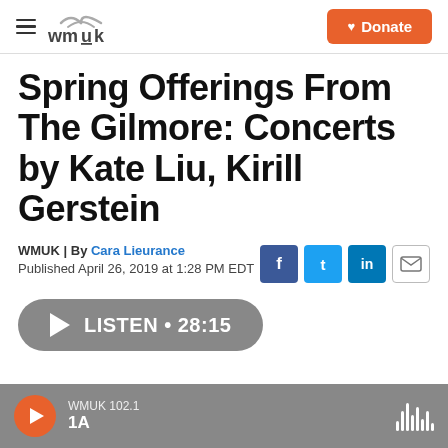WMUK | Donate
Spring Offerings From The Gilmore: Concerts by Kate Liu, Kirill Gerstein
WMUK | By Cara Lieurance
Published April 26, 2019 at 1:28 PM EDT
LISTEN • 28:15
WMUK 102.1 | 1A